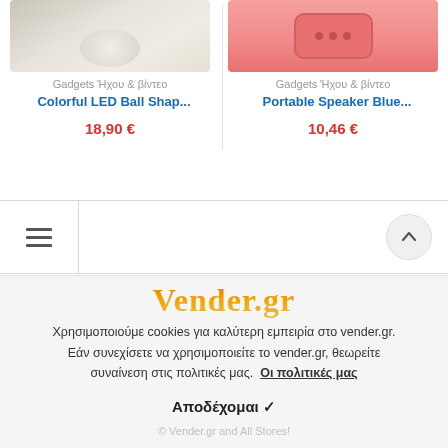[Figure (photo): Product image of a colorful LED ball shape item on light background]
[Figure (photo): Product image of a portable pink/red Bluetooth speaker]
Gadgets Ήχου & βίντεο
Gadgets Ήχου & βίντεο
Colorful LED Ball Shap...
Portable Speaker Blue...
18,90 €
10,46 €
[Figure (screenshot): Navigation bar with hamburger menu icon on left and scroll-to-top button on right]
[Figure (logo): Vender.gr logo in orange gradient serif font]
Χρησιμοποιούμε cookies για καλύτερη εμπειρία στο vender.gr. Εάν συνεχίσετε να χρησιμοποιείτε το vender.gr, θεωρείτε συναίνεση στις πολιτικές μας. Οι πολιτικές μας
Αποδέχομαι ✓
© Vender.gr and All Stores!